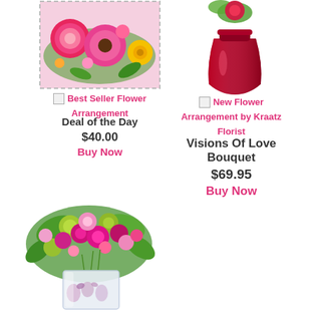[Figure (photo): Top-left: pink flower arrangement (carnations, gerbera daisies) with dashed border frame]
[Figure (photo): Top-right: Red heart-shaped vase with flowers]
Best Seller Flower Arrangement
Deal of the Day
$40.00
Buy Now
New Flower Arrangement by Kraatz Florist
Visions Of Love Bouquet
$69.95
Buy Now
[Figure (photo): Bottom-left: colorful flower bouquet with pink, magenta, green flowers in a decorative square glass vase]